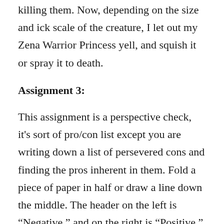killing them. Now, depending on the size and ick scale of the creature, I let out my Zena Warrior Princess yell, and squish it or spray it to death.
Assignment 3:
This assignment is a perspective check, it's sort of pro/con list except you are writing down a list of persevered cons and finding the pros inherent in them. Fold a piece of paper in half or draw a line down the middle. The header on the left is “Negative,” and on the right is “Positive.” You can change them if you'd like. Full discourse, this can be really difficult at first. You can always start off small. Using the space and columns on the left side